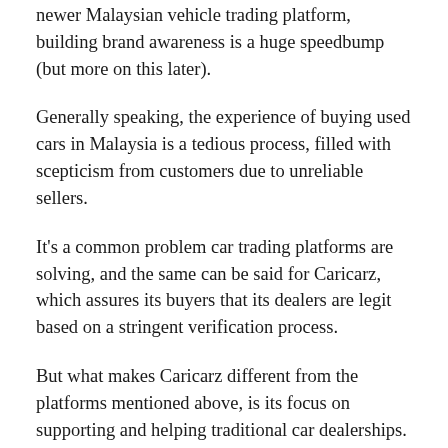newer Malaysian vehicle trading platform, building brand awareness is a huge speedbump (but more on this later).
Generally speaking, the experience of buying used cars in Malaysia is a tedious process, filled with scepticism from customers due to unreliable sellers.
It's a common problem car trading platforms are solving, and the same can be said for Caricarz, which assures its buyers that its dealers are legit based on a stringent verification process.
But what makes Caricarz different from the platforms mentioned above, is its focus on supporting and helping traditional car dealerships.
Doubling down on car dealerships